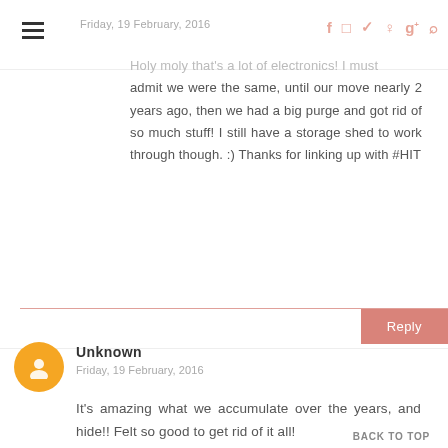Friday, 19 February, 2016
Holy moly that's a lot of electronics! I must admit we were the same, until our move nearly 2 years ago, then we had a big purge and got rid of so much stuff! I still have a storage shed to work through though. :) Thanks for linking up with #HIT
Reply
Unknown
Friday, 19 February, 2016
It's amazing what we accumulate over the years, and hide!! Felt so good to get rid of it all!
BACK TO TOP